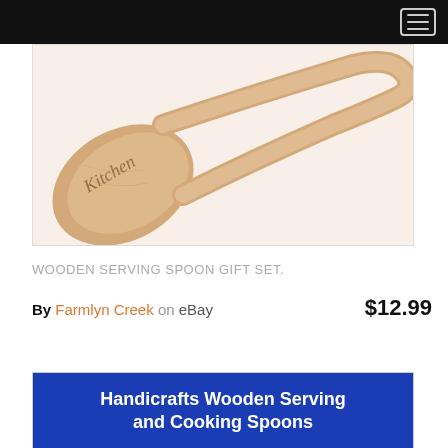[Figure (photo): Close-up photo of a wooden serving spoon with engraved text 'Kitchen' in cursive, showing the spoon head and handle on a white background]
WOODEN SERVING SPOON GIFT SET.
By Farmlyn Creek on eBay   $12.99
[Figure (photo): Product listing banner with blue background showing text: Handicrafts Wooden Serving and Cooking Spoons]